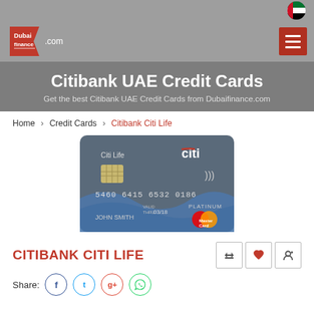[Figure (logo): Dubai Finance .com logo with red flag/pennant icon]
Citibank UAE Credit Cards
Get the best Citibank UAE Credit Cards from Dubaifinance.com
Home > Credit Cards > Citibank Citi Life
[Figure (photo): Citibank Citi Life Platinum MasterCard credit card image, dark blue/grey card with card number 5460 6415 6532 0186, Citi logo, contactless symbol, and MasterCard logo]
CITIBANK CITI LIFE
Share: